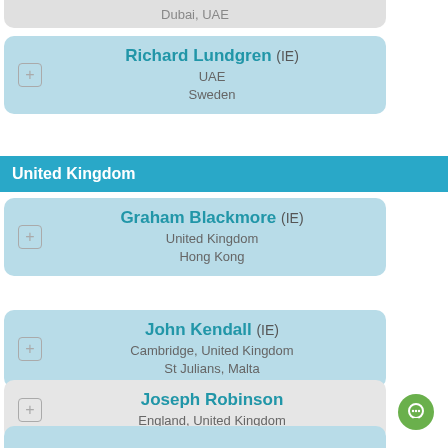Dubai, UAE
Richard Lundgren (IE) — UAE, Sweden
United Kingdom
Graham Blackmore (IE) — United Kingdom, Hong Kong
John Kendall (IE) — Cambridge, United Kingdom; St Julians, Malta
Joseph Robinson — England, United Kingdom